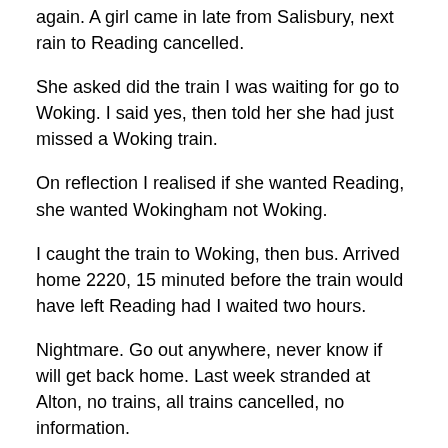again. A girl came in late from Salisbury, next rain to Reading cancelled.
She asked did the train I was waiting for go to Woking. I said yes, then told her she had just missed a Woking train.
On reflection I realised if she wanted Reading, she wanted Wokingham not Woking.
I caught the train to Woking, then bus. Arrived home 2220, 15 minuted before the train would have left Reading had I waited two hours.
Nightmare. Go out anywhere, never know if will get back home. Last week stranded at Alton, no trains, all trains cancelled, no information.
Situation is not helped by stations not manned, or at large stations like Reading, no staff to be, no announcements